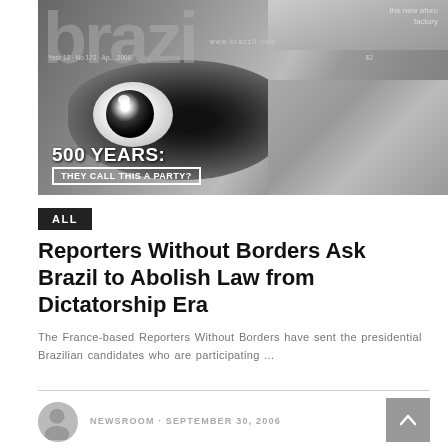[Figure (photo): Black and white magazine cover of 'Brasil' magazine showing a close-up of a human eye with text '500 YEARS: THEY CALL THIS A PARTY?' and website www.brazzil.com, Year 12, No 172, April 2000, $2]
ALL
Reporters Without Borders Ask Brazil to Abolish Law from Dictatorship Era
The France-based Reporters Without Borders have sent the presidential Brazilian candidates who are participating ...
NEWSROOM · SEPTEMBER 30, 2006